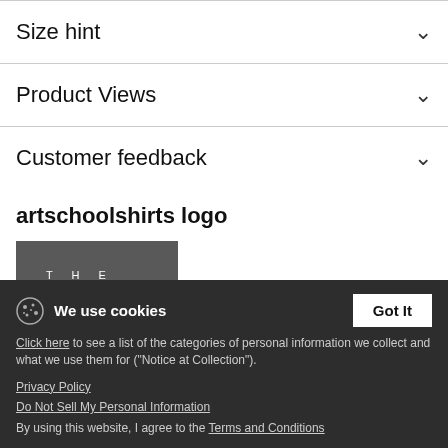Size hint
Product Views
Customer feedback
artschoolshirts logo
[Figure (logo): The Art School logo on dark grey background with white text reading THE ART SCHOOL]
We use cookies
Click here to see a list of the categories of personal information we collect and what we use them for ("Notice at Collection").
Privacy Policy
Do Not Sell My Personal Information
By using this website, I agree to the Terms and Conditions